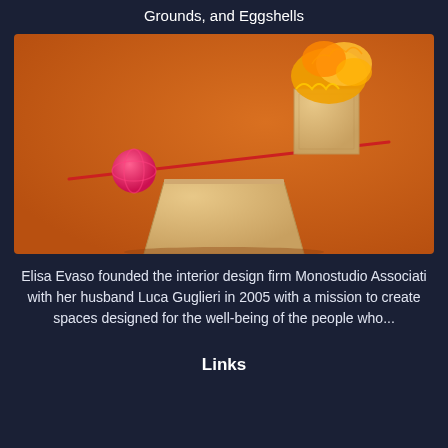Grounds, and Eggshells
[Figure (photo): A balance/seesaw scene on an orange background: a small pink ball on the left side and a tall beige block with yellow lacy fabric draped over it on the right side, balanced on a red diagonal bar, with a large beige block acting as the fulcrum below.]
Elisa Evaso founded the interior design firm Monostudio Associati with her husband Luca Guglieri in 2005 with a mission to create spaces designed for the well-being of the people who...
Links